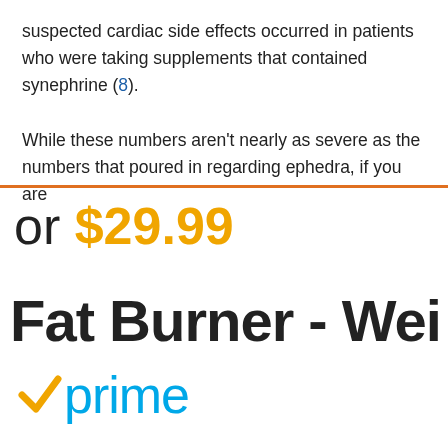suspected cardiac side effects occurred in patients who were taking supplements that contained synephrine (8).
While these numbers aren’t nearly as severe as the numbers that poured in regarding ephedra, if you are
or $29.99
Fat Burner - Wei
[Figure (logo): Amazon Prime logo with checkmark and 'prime' text in blue]